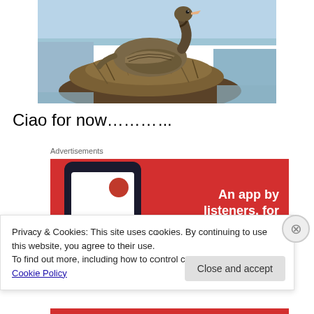[Figure (photo): A goose sitting on a nest made of dry grass and reeds at the edge of water, viewed from the side. The bird has brown/grey plumage. Blue water visible in background.]
Ciao for now………...
Advertisements
[Figure (infographic): Red advertisement banner for a streaming app called 'Distrib'. Shows a smartphone with the app interface on the left side, and white bold text on the right reading 'An app by listeners, for listeners.']
Privacy & Cookies: This site uses cookies. By continuing to use this website, you agree to their use.
To find out more, including how to control cookies, see here: Cookie Policy
Close and accept